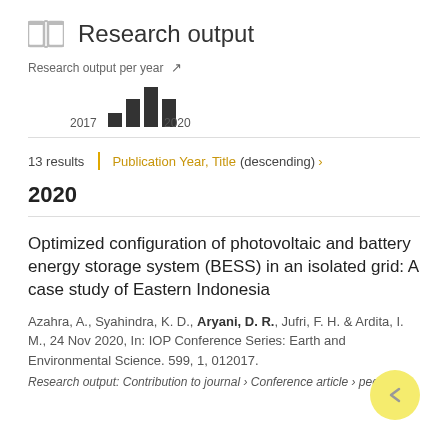Research output
[Figure (bar-chart): Research output per year]
13 results   Publication Year, Title (descending) ›
2020
Optimized configuration of photovoltaic and battery energy storage system (BESS) in an isolated grid: A case study of Eastern Indonesia
Azahra, A., Syahindra, K. D., Aryani, D. R., Jufri, F. H. & Ardita, I. M., 24 Nov 2020, In: IOP Conference Series: Earth and Environmental Science. 599, 1, 012017.
Research output: Contribution to journal › Conference article › peer-